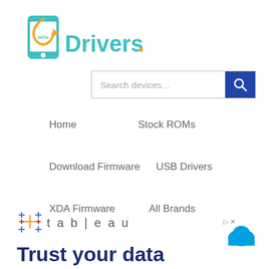[Figure (logo): WithDrivers.com logo — teal smartphone icon with orange arrow and 'WITH' text, followed by 'Drivers' in teal and '.com' in orange]
[Figure (screenshot): Search bar with placeholder text 'Search devices...' and a dark blue search button with magnifying glass icon]
Home
Stock ROMs
Download Firmware
USB Drivers
XDA Firmware
All Brands
[Figure (logo): Tableau logo with colorful plus/cross symbols and stylized 't a b | e a u' text]
Trust your data